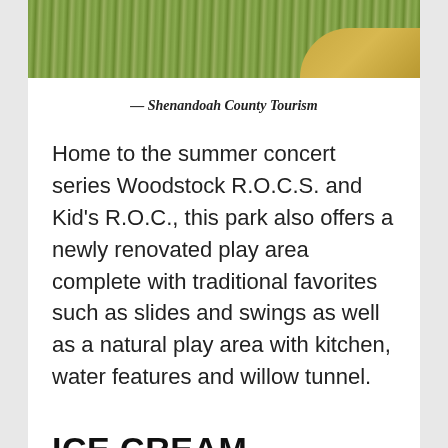[Figure (photo): Aerial or ground-level photo of a grassy park area with sandy mound, partially visible at top of page]
— Shenandoah County Tourism
Home to the summer concert series Woodstock R.O.C.S. and Kid's R.O.C., this park also offers a newly renovated play area complete with traditional favorites such as slides and swings as well as a natural play area with kitchen, water features and willow tunnel.
ICE CREAM STANDS
[Figure (photo): Photo with bright blue sky and white clouds, partially visible at bottom of page]